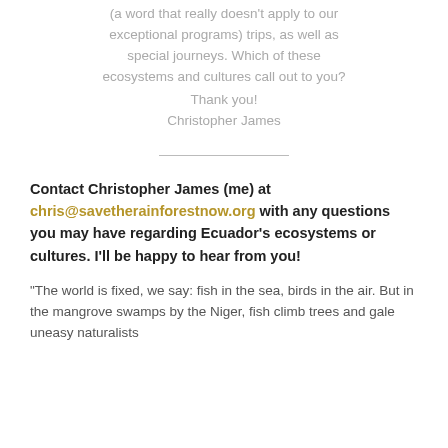(a word that really doesn't apply to our exceptional programs) trips, as well as special journeys. Which of these ecosystems and cultures call out to you? Thank you! Christopher James
Contact Christopher James (me) at chris@savetherainforestnow.org with any questions you may have regarding Ecuador's ecosystems or cultures. I'll be happy to hear from you!
"The world is fixed, we say: fish in the sea, birds in the air. But in the mangrove swamps by the Niger, fish climb trees and gale uneasy naturalists